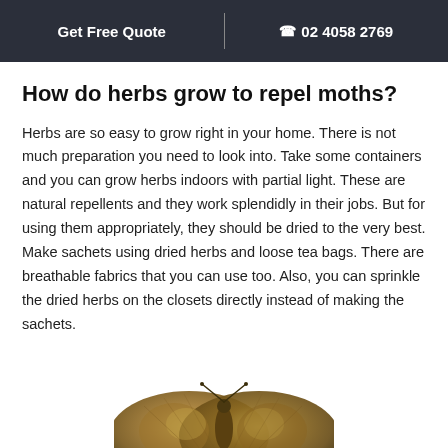Get Free Quote | ☎ 02 4058 2769
How do herbs grow to repel moths?
Herbs are so easy to grow right in your home. There is not much preparation you need to look into. Take some containers and you can grow herbs indoors with partial light. These are natural repellents and they work splendidly in their jobs. But for using them appropriately, they should be dried to the very best. Make sachets using dried herbs and loose tea bags. There are breathable fabrics that you can use too. Also, you can sprinkle the dried herbs on the closets directly instead of making the sachets.
[Figure (photo): Close-up photo of a moth with brown and gold patterned wings, partially visible at the bottom of the page.]